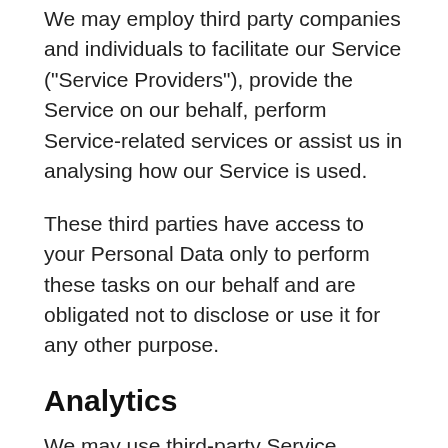We may employ third party companies and individuals to facilitate our Service ("Service Providers"), provide the Service on our behalf, perform Service-related services or assist us in analysing how our Service is used.
These third parties have access to your Personal Data only to perform these tasks on our behalf and are obligated not to disclose or use it for any other purpose.
Analytics
We may use third-party Service Providers to monitor and analyse the use of our Service.